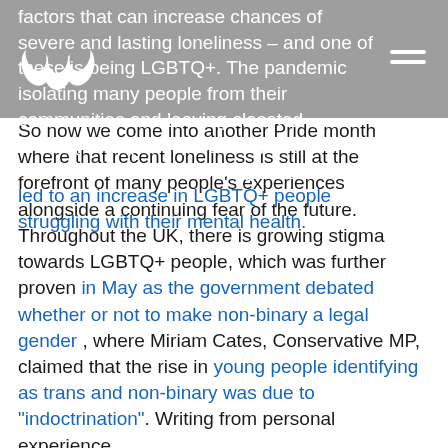factors that can increase chances of severe and lasting loneliness – and one of these is being LGBTQ+. The pandemic isolating many people from their communities and leaving closeted LGBTQ+ people in potentially unsafe familial environments during lockdown has led to an increase in LGBTQ+ people struggling with their mental health.
So now we come into another Pride month where that recent loneliness is still at the forefront of many people's experiences alongside a continuing fear of the future. Throughout the UK, there is growing stigma towards LGBTQ+ people, which was further proven in May as the government debated whether or not to make non-binary a legal gender , where Miriam Cates, Conservative MP, claimed that the rise in young people identifying as trans and non-binary was due to "indoctrination". Writing from personal experience,